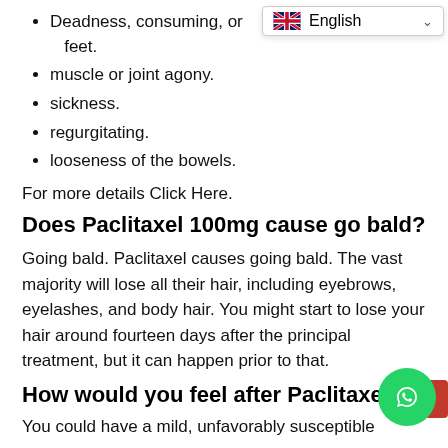Deadness, consuming, or [tingling in hands or] feet.
muscle or joint agony.
sickness.
regurgitating.
looseness of the bowels.
For more details Click Here.
Does Paclitaxel 100mg cause go bald?
Going bald. Paclitaxel causes going bald. The vast majority will lose all their hair, including eyebrows, eyelashes, and body hair. You might start to lose your hair around fourteen days after the principal treatment, but it can happen prior to that.
How would you feel after Paclitaxel 10[0mg?]
You could have a mild, unfavorably susceptible response